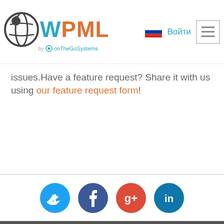WPML by onTheGoSystems — Войти
issues.Have a feature request? Share it with us using our feature request form!
[Figure (illustration): Social media icon buttons: Twitter (blue), Facebook (dark blue), Google+ (red), LinkedIn (teal)]
[Figure (logo): onTheGoSystems logo in gray on dark background]
О WPML
Вакансии для разработчиков и специалистов службы поддержки WordPress